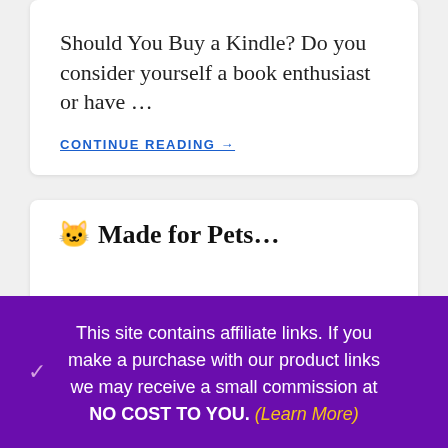Should You Buy a Kindle? Do you consider yourself a book enthusiast or have ...
CONTINUE READING →
🐱 Made for Pets...
This site contains affiliate links. If you make a purchase with our product links we may receive a small commission at NO COST TO YOU. (Learn More)
CLOSE